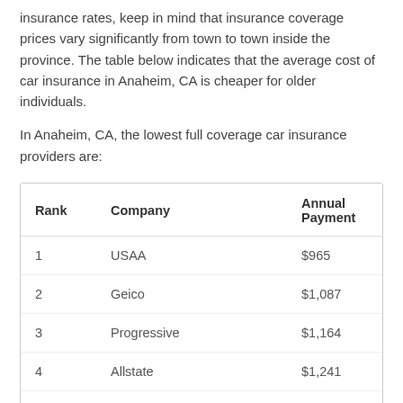insurance rates, keep in mind that insurance coverage prices vary significantly from town to town inside the province. The table below indicates that the average cost of car insurance in Anaheim, CA is cheaper for older individuals.
In Anaheim, CA, the lowest full coverage car insurance providers are:
| Rank | Company | Annual Payment |
| --- | --- | --- |
| 1 | USAA | $965 |
| 2 | Geico | $1,087 |
| 3 | Progressive | $1,164 |
| 4 | Allstate | $1,241 |
| 5 | Nationwide | $1,289 |
| 6 | Travelers | $1,365 |
| 7 | Wawanesa | $1,479 |